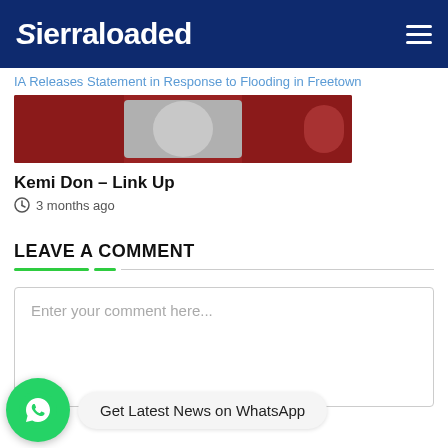Sierraloaded
IA Releases Statement in Response to Flooding in Freetown
[Figure (photo): Thumbnail image showing a reddish illustration, partially visible]
Kemi Don – Link Up
3 months ago
LEAVE A COMMENT
Enter your comment here...
Get Latest News on WhatsApp